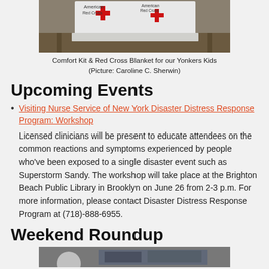[Figure (photo): Photo of American Red Cross comfort kit and blanket with red cross logos visible]
Comfort Kit & Red Cross Blanket for our Yonkers Kids
(Picture: Caroline C. Sherwin)
Upcoming Events
Visiting Nurse Service of New York Disaster Distress Response Program: Workshop
Licensed clinicians will be present to educate attendees on the common reactions and symptoms experienced by people who've been exposed to a single disaster event such as Superstorm Sandy. The workshop will take place at the Brighton Beach Public Library in Brooklyn on June 26 from 2-3 p.m. For more information, please contact Disaster Distress Response Program at (718)-888-6955.
Weekend Roundup
[Figure (photo): Partial photo visible at bottom of page]